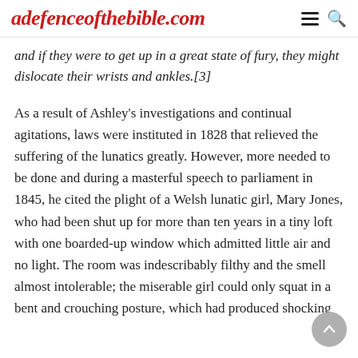adefenceofthebible.com
and if they were to get up in a great state of fury, they might dislocate their wrists and ankles.[3]
As a result of Ashley's investigations and continual agitations, laws were instituted in 1828 that relieved the suffering of the lunatics greatly. However, more needed to be done and during a masterful speech to parliament in 1845, he cited the plight of a Welsh lunatic girl, Mary Jones, who had been shut up for more than ten years in a tiny loft with one boarded-up window which admitted little air and no light. The room was indescribably filthy and the smell almost intolerable; the miserable girl could only squat in a bent and crouching posture, which had produced shocking